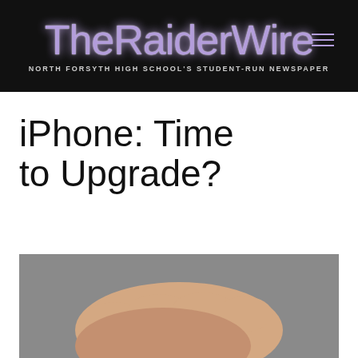The Raider Wire — NORTH FORSYTH HIGH SCHOOL'S STUDENT-RUN NEWSPAPER
iPhone: Time to Upgrade?
[Figure (photo): A hand holding two iPhones with decorative floral/henna-style white patterned cases, photographed against a grey carpet background.]